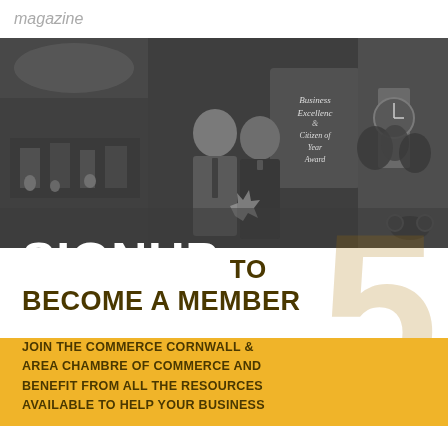magazine
[Figure (photo): Black and white collage photo showing two men in suits at an awards ceremony with a 'Business Excellence & Citizen of Year Award' sign, alongside images of an indoor arena/trade show floor and a clock tower with plants]
SIGNUP TO BECOME A MEMBER
JOIN THE COMMERCE CORNWALL & AREA CHAMBRE OF COMMERCE AND BENEFIT FROM ALL THE RESOURCES AVAILABLE TO HELP YOUR BUSINESS